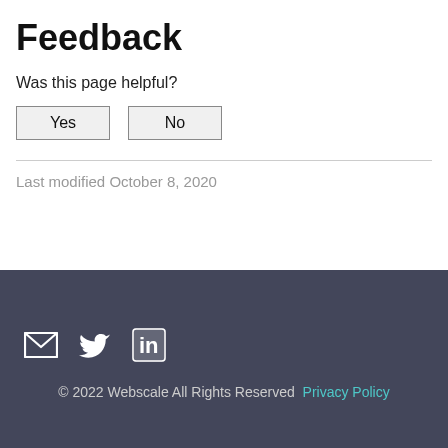Feedback
Was this page helpful?
Yes   No
Last modified October 8, 2020
[Figure (other): Social media icons: email (envelope), Twitter bird, LinkedIn logo]
© 2022 Webscale All Rights Reserved   Privacy Policy